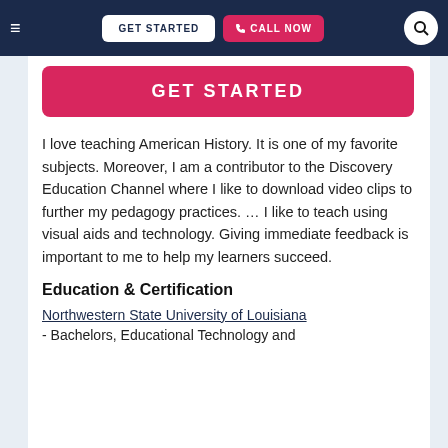≡  GET STARTED  📞 CALL NOW  🔍
GET STARTED
I love teaching American History. It is one of my favorite subjects. Moreover, I am a contributor to the Discovery Education Channel where I like to download video clips to further my pedagogy practices. … I like to teach using visual aids and technology. Giving immediate feedback is important to me to help my learners succeed.
Education & Certification
Northwestern State University of Louisiana - Bachelors, Educational Technology and